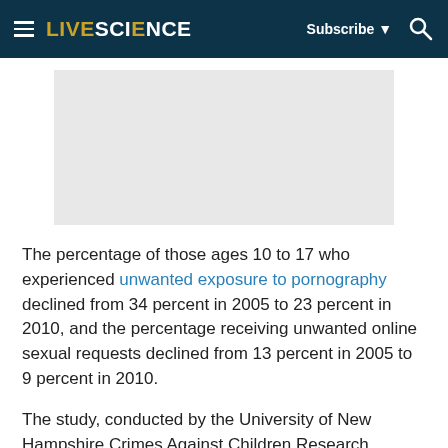LIVESCIENCE  Subscribe  [search]
[Figure (other): Gray advertisement placeholder block]
The percentage of those ages 10 to 17 who experienced unwanted exposure to pornography declined from 34 percent in 2005 to 23 percent in 2010, and the percentage receiving unwanted online sexual requests declined from 13 percent in 2005 to 9 percent in 2010.
The study, conducted by the University of New Hampshire Crimes Against Children Research Center, looked at data from national surveys conducted in 2000, 2005, and 2010.